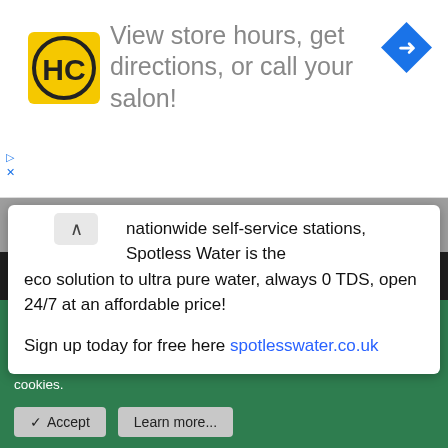[Figure (screenshot): Advertisement banner with HC logo (black and yellow), text 'View store hours, get directions, or call your salon!' in grey, and a blue diamond navigation icon on the right. Small ad controls (triangle/play and X) on the left side.]
nationwide self-service stations, Spotless Water is the eco solution to ultra pure water, always 0 TDS, open 24/7 at an affordable price!

Sign up today for free here spotlesswater.co.uk
Water Fed Pole Window Cleaning
Community platform by XenForo® © 2010-2022 XenForo Ltd.
This site uses cookies to help personalise content, tailor your experience and to keep you logged in if you register.
By continuing to use this site, you are consenting to our use of cookies.
✓ Accept
Learn more...